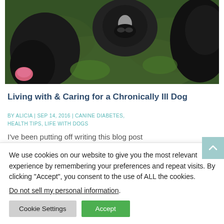[Figure (photo): Overhead view of two black dogs looking up at the camera on green grass]
Living with & Caring for a Chronically Ill Dog
BY ALICIA | SEP 14, 2016 | CANINE DIABETES, HEALTH TIPS, LIFE WITH DOGS
I've been putting off writing this blog post for a lot of reasons. Mainly because it's hard
We use cookies on our website to give you the most relevant experience by remembering your preferences and repeat visits. By clicking "Accept", you consent to the use of ALL the cookies.
Do not sell my personal information.
Cookie Settings
Accept